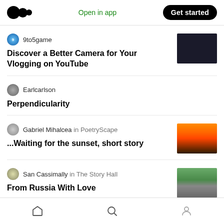Medium logo | Open in app | Get started
9to5game — Discover a Better Camera for Your Vlogging on YouTube
Earlcarlson — Perpendicularity
Gabriel Mihalcea in PoetryScape — ...Waiting for the sunset, short story
San Cassimally in The Story Hall — From Russia With Love
Home | Search | Profile